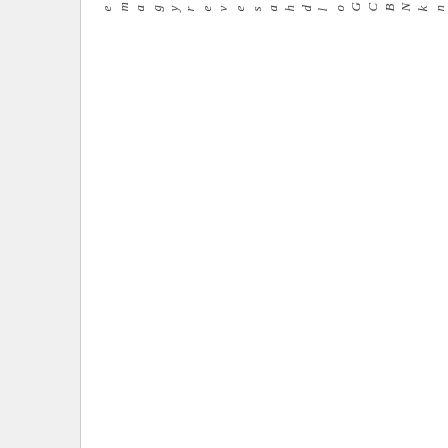hink .lthinkNBCGoldhaseVerygame